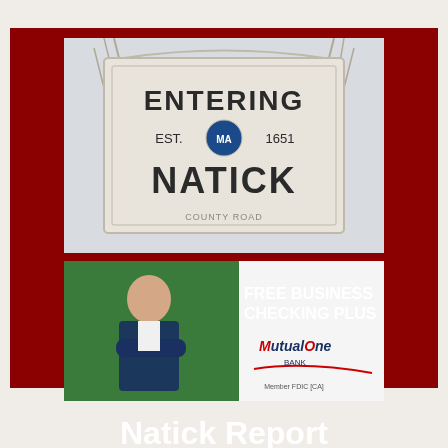[Figure (photo): Town sign reading 'ENTERING EST. 1651 NATICK' with Massachusetts state seal, against a winter bare-tree background]
[Figure (photo): MutualOne Bank advertisement showing a man in a suit with crossed arms against a green background with text 'FREE BUSINESS CHECKING PLUS' and MutualOne Bank logo with 'Member FDIC [CA]']
Natick Report
More than you really want to know about Natick, Mass.